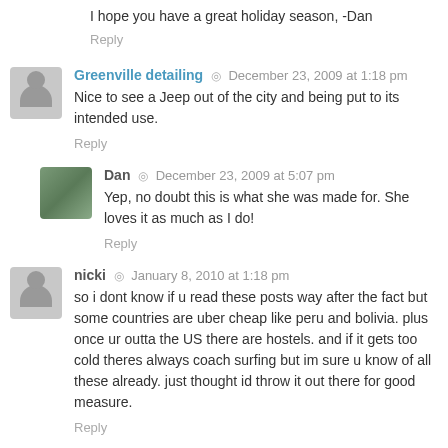I hope you have a great holiday season, -Dan
Reply
Greenville detailing · December 23, 2009 at 1:18 pm
Nice to see a Jeep out of the city and being put to its intended use.
Reply
Dan · December 23, 2009 at 5:07 pm
Yep, no doubt this is what she was made for. She loves it as much as I do!
Reply
nicki · January 8, 2010 at 1:18 pm
so i dont know if u read these posts way after the fact but some countries are uber cheap like peru and bolivia. plus once ur outta the US there are hostels. and if it gets too cold theres always coach surfing but im sure u know of all these already. just thought id throw it out there for good measure.
Reply
Dan · January 9, 2010 at 6:49 am